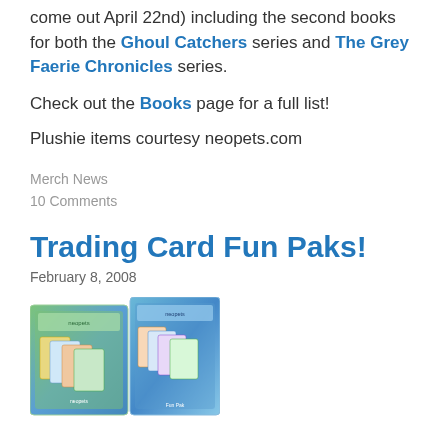come out April 22nd) including the second books for both the Ghoul Catchers series and The Grey Faerie Chronicles series.
Check out the Books page for a full list!
Plushie items courtesy neopets.com
Merch News
10 Comments
Trading Card Fun Paks!
February 8, 2008
[Figure (photo): Two Neopets trading card fun pak product packages displayed together]